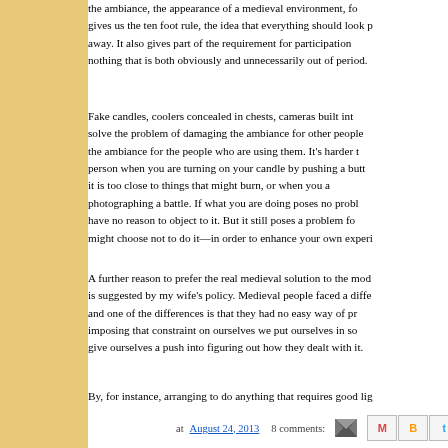the ambiance, the appearance of a medieval environment, fo gives us the ten foot rule, the idea that everything should look p away. It also gives part of the requirement for participation nothing that is both obviously and unnecessarily out of period.
Fake candles, coolers concealed in chests, cameras built int solve the problem of damaging the ambiance for other people the ambiance for the people who are using them. It's harder t person when you are turning on your candle by pushing a butt it is too close to things that might burn, or when you a photographing a battle. If what you are doing poses no probl have no reason to object to it. But it still poses a problem fo might choose not to do it—in order to enhance your own experi
A further reason to prefer the real medieval solution to the mod is suggested by my wife's policy. Medieval people faced a diffe and one of the differences is that they had no easy way of pr imposing that constraint on ourselves we put ourselves in so give ourselves a push into figuring out how they dealt with it.
By, for instance, arranging to do anything that requires good lig
at August 24, 2013   8 comments: